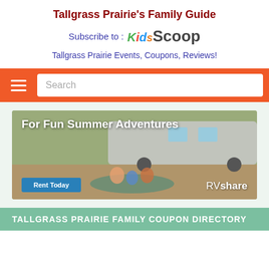Tallgrass Prairie's Family Guide
Subscribe to : Kids Scoop
Tallgrass Prairie Events, Coupons, Reviews!
[Figure (screenshot): Orange navigation bar with hamburger menu icon and search input field]
[Figure (photo): RVshare advertisement banner showing family sitting outside an RV with text 'For Fun Summer Adventures' and a blue 'Rent Today' button]
TALLGRASS PRAIRIE FAMILY COUPON DIRECTORY